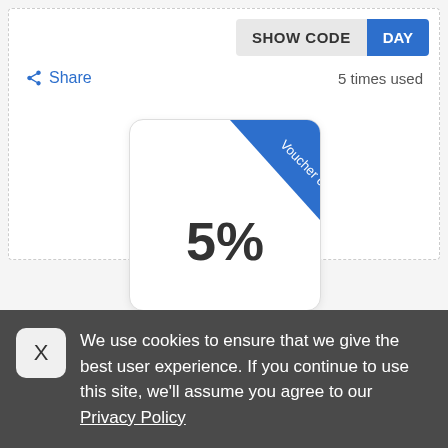[Figure (screenshot): SHOW CODE button with blue DAY button on right]
Share   5 times used
[Figure (infographic): Voucher code card showing 5% discount with blue diagonal ribbon labeled 'Voucher code']
Standout Voucher codes
We use cookies to ensure that we give the best user experience. If you continue to use this site, we'll assume you agree to our Privacy Policy